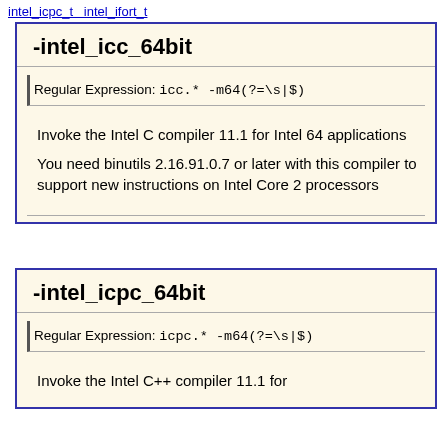intel_icpc_t  intel_ifort_t
-intel_icc_64bit
Regular Expression: icc.* -m64(?=\s|$)
Invoke the Intel C compiler 11.1 for Intel 64 applications
You need binutils 2.16.91.0.7 or later with this compiler to support new instructions on Intel Core 2 processors
-intel_icpc_64bit
Regular Expression: icpc.* -m64(?=\s|$)
Invoke the Intel C++ compiler 11.1 for